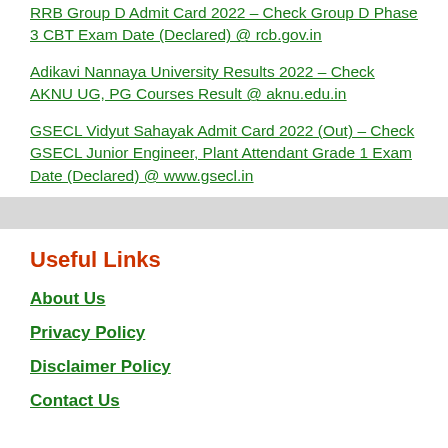RRB Group D Admit Card 2022 – Check Group D Phase 3 CBT Exam Date (Declared) @ rcb.gov.in
Adikavi Nannaya University Results 2022 – Check AKNU UG, PG Courses Result @ aknu.edu.in
GSECL Vidyut Sahayak Admit Card 2022 (Out) – Check GSECL Junior Engineer, Plant Attendant Grade 1 Exam Date (Declared) @ www.gsecl.in
Useful Links
About Us
Privacy Policy
Disclaimer Policy
Contact Us